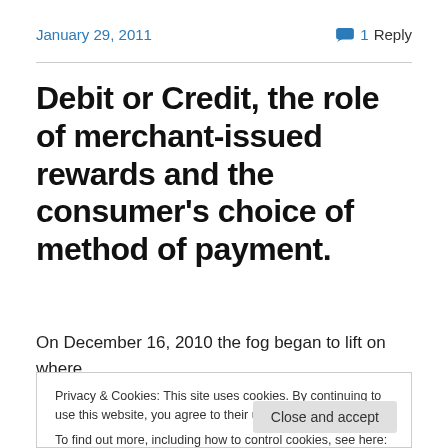January 29, 2011   💬 1 Reply
Debit or Credit, the role of merchant-issued rewards and the consumer's choice of method of payment.
On December 16, 2010 the fog began to lift on where
Privacy & Cookies: This site uses cookies. By continuing to use this website, you agree to their use.
To find out more, including how to control cookies, see here: Cookie Policy
regulation will have any positive impact for consumers